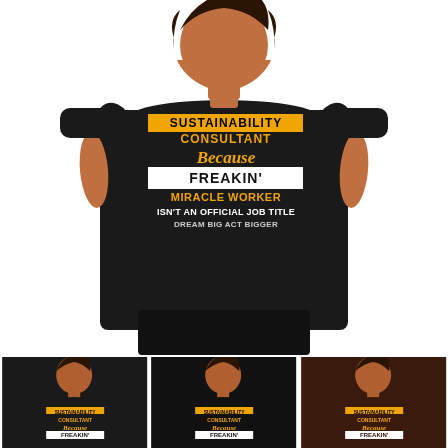[Figure (photo): Woman wearing a black t-shirt with text: SUSTAINABILITY CONSULTANT Because FREAKIN' MIRACLE WORKER ISN'T AN OFFICIAL JOB TITLE DREAM BIG ACT BIGGER. Main large product photo.]
[Figure (photo): Thumbnail 1: Same woman in black t-shirt, smaller view]
[Figure (photo): Thumbnail 2: Same woman in black t-shirt, smaller view]
[Figure (photo): Thumbnail 3: Same woman in dark brown/oxblood t-shirt, smaller view]